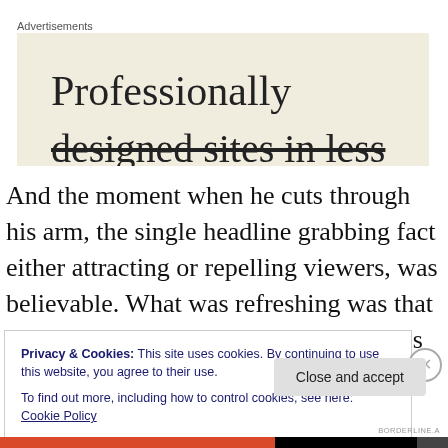Advertisements
[Figure (other): Advertisement box with beige background showing 'Professionally' in serif font and partially visible text 'designed sites in less' below it]
And the moment when he cuts through his arm, the single headline grabbing fact either attracting or repelling viewers, was believable. What was refreshing was that on a number of occasions you think he's going to, but doesn't.
Privacy & Cookies: This site uses cookies. By continuing to use this website, you agree to their use.
To find out more, including how to control cookies, see here: Cookie Policy
Close and accept